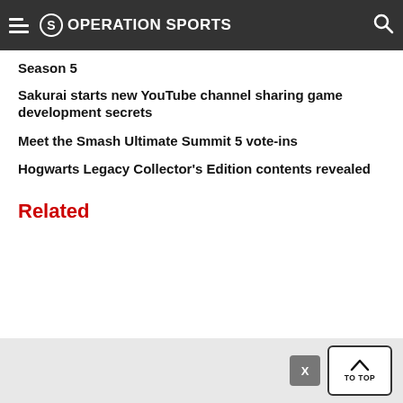Operation Sports
Season 5
Sakurai starts new YouTube channel sharing game development secrets
Meet the Smash Ultimate Summit 5 vote-ins
Hogwarts Legacy Collector's Edition contents revealed
Related
X  TO TOP